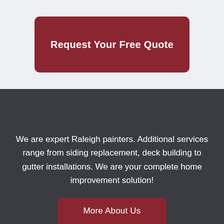[Figure (other): Dark red rounded button with white bold text 'Request Your Free Quote' on a light gray background]
We are expert Raleigh painters. Additional services range from siding replacement, deck building to gutter installations. We are your complete home improvement solution!
[Figure (other): Dark red button with white text 'More About Us' partially visible at the bottom of the dark gray section]